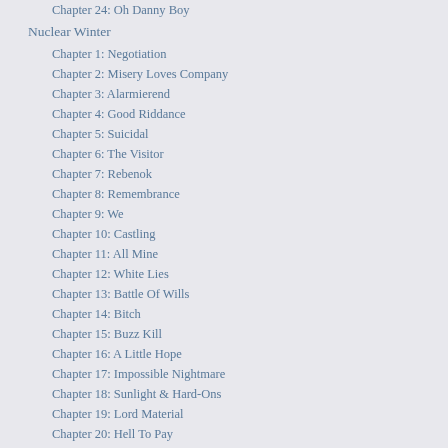Chapter 24: Oh Danny Boy
Nuclear Winter
Chapter 1: Negotiation
Chapter 2: Misery Loves Company
Chapter 3: Alarmierend
Chapter 4: Good Riddance
Chapter 5: Suicidal
Chapter 6: The Visitor
Chapter 7: Rebenok
Chapter 8: Remembrance
Chapter 9: We
Chapter 10: Castling
Chapter 11: All Mine
Chapter 12: White Lies
Chapter 13: Battle Of Wills
Chapter 14: Bitch
Chapter 15: Buzz Kill
Chapter 16: A Little Hope
Chapter 17: Impossible Nightmare
Chapter 18: Sunlight & Hard-Ons
Chapter 19: Lord Material
Chapter 20: Hell To Pay
Chapter 21: Discoveries